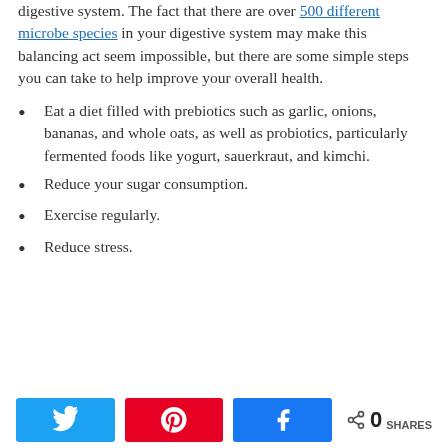balance of the necessary microorganisms in your digestive system. The fact that there are over 500 different microbe species in your digestive system may make this balancing act seem impossible, but there are some simple steps you can take to help improve your overall health.
Eat a diet filled with prebiotics such as garlic, onions, bananas, and whole oats, as well as probiotics, particularly fermented foods like yogurt, sauerkraut, and kimchi.
Reduce your sugar consumption.
Exercise regularly.
Reduce stress.
Share buttons: Twitter, Pinterest, Facebook. 0 SHARES